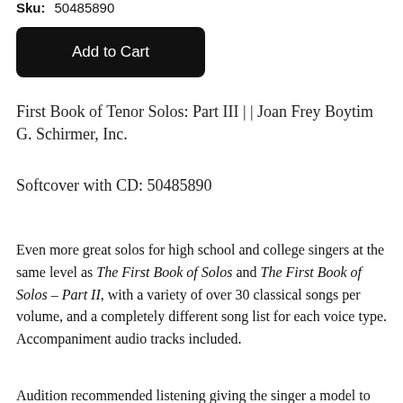Sku: 50485890
Add to Cart
First Book of Tenor Solos: Part III | | Joan Frey Boytim
G. Schirmer, Inc.
Softcover with CD: 50485890
Even more great solos for high school and college singers at the same level as The First Book of Solos and The First Book of Solos – Part II, with a variety of over 30 classical songs per volume, and a completely different song list for each voice type. Accompaniment audio tracks included.
Audition recommended listening giving the singer a model to help choose the appropriate voice type.